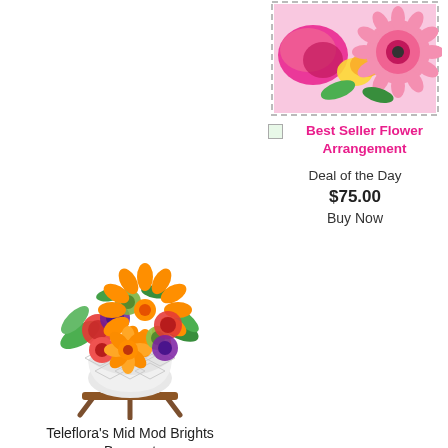[Figure (photo): Flower arrangement photo with pink gerberas, yellow roses, and other pink flowers in a stamp-bordered image (top right)]
Best Seller Flower Arrangement
Deal of the Day
$75.00
Buy Now
[Figure (photo): Teleflora's Mid Mod Brights Bouquet - colorful arrangement with orange gerberas, red carnations, purple mums, and green pompons in a white geometric ceramic vase on a wooden stand]
Teleflora's Mid Mod Brights Bouquet